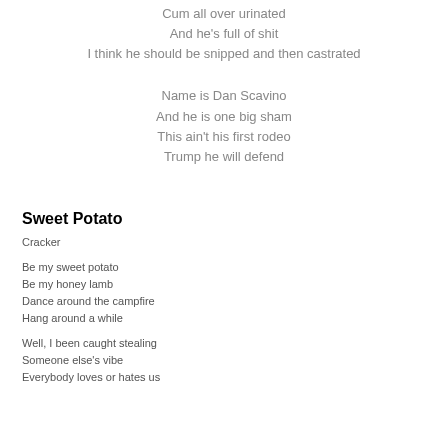Cum all over urinated
And he's full of shit
I think he should be snipped and then castrated
Name is Dan Scavino
And he is one big sham
This ain't his first rodeo
Trump he will defend
Sweet Potato
Cracker
Be my sweet potato
Be my honey lamb
Dance around the campfire
Hang around a while
Well, I been caught stealing
Someone else's vibe
Everybody loves or hates us